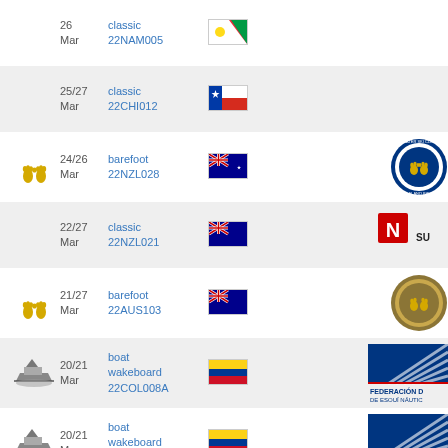26 Mar | classic | 22NAM005 | Namibia flag
25/27 Mar | classic | 22CHI012 | Chile flag
24/26 Mar | barefoot | 22NZL028 | Australia flag | New Zealand Barefoot Water Ski Club logo
22/27 Mar | classic | 22NZL021 | Australia flag | N SU logo
21/27 Mar | barefoot | 22AUS103 | Australia flag | Australian Barefoot Club National Titles logo
20/21 Mar | boat wakeboard | 22COL008A | Colombia flag | Federacion de Esqui Nautico FEDE logo
20/21 Mar | boat wakeboard | 22COL008 | Colombia flag | Federacion de Esqui Nautico FEDE logo